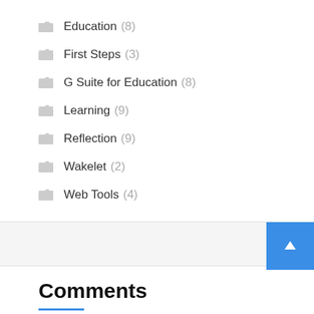Education (8)
First Steps (3)
G Suite for Education (8)
Learning (9)
Reflection (9)
Wakelet (2)
Web Tools (4)
Comments